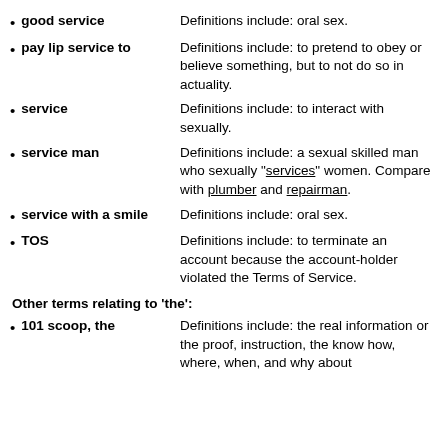good service — Definitions include: oral sex.
pay lip service to — Definitions include: to pretend to obey or believe something, but to not do so in actuality.
service — Definitions include: to interact with sexually.
service man — Definitions include: a sexual skilled man who sexually "services" women. Compare with plumber and repairman.
service with a smile — Definitions include: oral sex.
TOS — Definitions include: to terminate an account because the account-holder violated the Terms of Service.
Other terms relating to 'the':
101 scoop, the — Definitions include: the real information or the proof, instruction, the know how, where, when, and why about